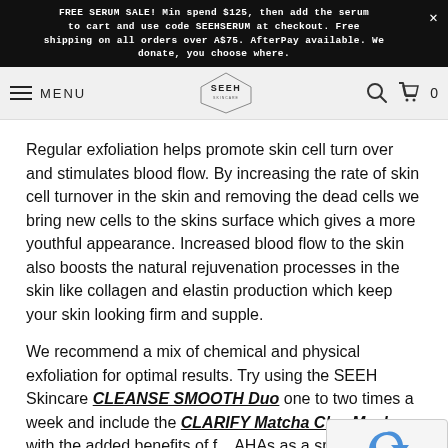FREE SERUM SALE! Min spend $125, then add the serum to cart and use code SEEHSERUM at checkout. Free shipping on all orders over A$75. AfterPay available. We donate, you choose where.
[Figure (logo): SEEH skincare logo in hexagon shape, navigation bar with MENU, search and cart icons]
Regular exfoliation helps promote skin cell turn over and stimulates blood flow. By increasing the rate of skin cell turnover in the skin and removing the dead cells we bring new cells to the skins surface which gives a more youthful appearance. Increased blood flow to the skin also boosts the natural rejuvenation processes in the skin like collagen and elastin production which keep your skin looking firm and supple.
We recommend a mix of chemical and physical exfoliation for optimal results. Try using the SEEH Skincare CLEANSE SMOOTH Duo one to two times a week and include the CLARIFY Matcha Clay Mask with the added benefits of f... AHAs as a special treat once a week. Your skin will no... be feeling smoother, brighter, softer, and healthier br... plumper and more hydrated.